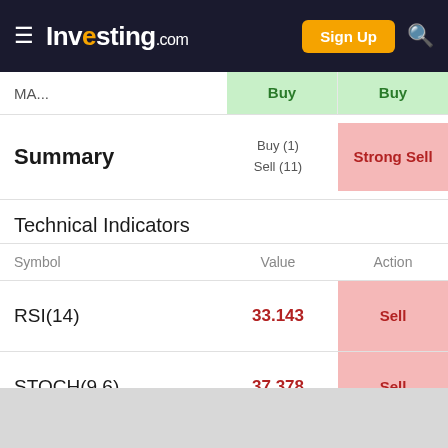Investing.com — Sign Up
| Symbol | Value | Action |
| --- | --- | --- |
| MA... | Buy | Buy |
| Summary
Buy (1)
Sell (11) |  | Strong Sell |
| RSI(14) | 33.143 | Sell |
| STOCH(9,6) | 37.378 | Sell |
| STOCHRSI(14) | 12.537 | Oversold |
Technical Indicators